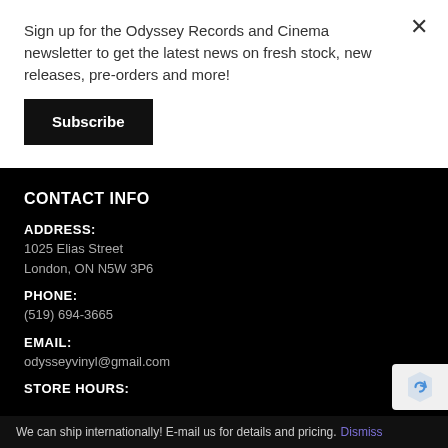Sign up for the Odyssey Records and Cinema newsletter to get the latest news on fresh stock, new releases, pre-orders and more!
Subscribe
CONTACT INFO
ADDRESS:
1025 Elias Street
London, ON N5W 3P6
PHONE:
(519) 694-3665
EMAIL:
odysseyvinyl@gmail.com
STORE HOURS:
We can ship internationally! E-mail us for details and pricing. Dismiss